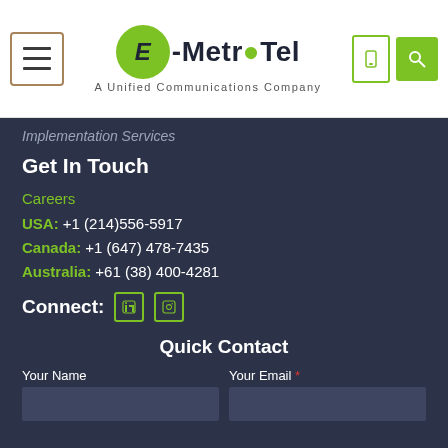[Figure (logo): E-MetroTel logo — green circle with E, followed by -MetroTel text with green dot, tagline A Unified Communications Company]
Implementation Services
Get In Touch
Careers
USA: +1 (214)556-5917
Canada: +1 (647) 478-7435
Australia: +61 (38) 400-4281
Connect:
Quick Contact
Your Name
Your Email *